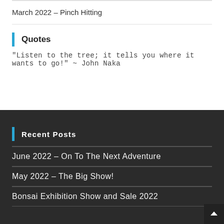March 2022 – Pinch Hitting
Quotes
"Listen to the tree; it tells you where it wants to go!" ~ John Naka
Recent Posts
June 2022 – On To The Next Adventure
May 2022 – The Big Show!
Bonsai Exhibition Show and Sale 2022